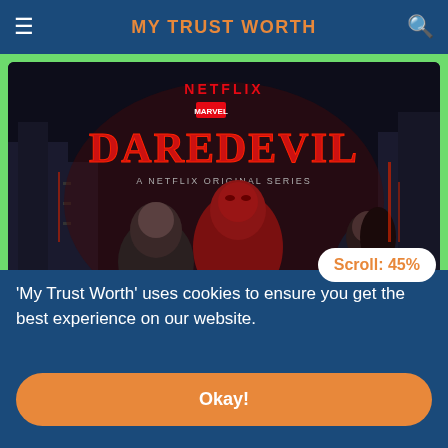MY TRUST WORTH
[Figure (screenshot): Daredevil Netflix original series promotional image showing characters in dark city setting with NETFLIX and DAREDEVIL text]
Daredevil - ENGLISH
'My Trust Worth' uses cookies to ensure you get the best experience on our website.
Scroll: 45%
Okay!